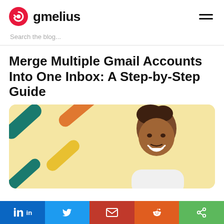gmelius
Search the blog...
Merge Multiple Gmail Accounts Into One Inbox: A Step-by-Step Guide
[Figure (photo): Hero image: smiling man on a light yellow background with colorful diagonal brush stroke shapes (teal, orange, yellow, teal) on the left side]
Social share bar with icons: LinkedIn, Twitter, Email, Reddit, Share